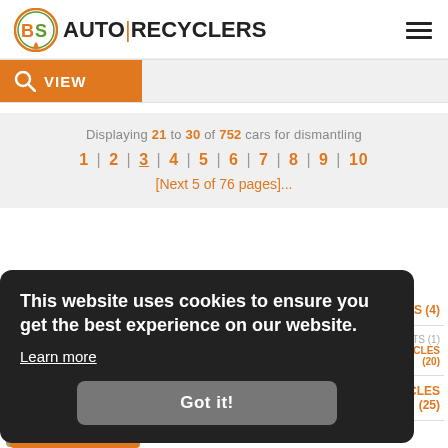[Figure (logo): BS Auto Recyclers logo with circular BS emblem in orange/green and text AUTO|RECYCLERS]
[Figure (screenshot): Hamburger menu icon (three horizontal lines)]
[Figure (screenshot): Orange search VIEW button with magnifying glass icon and grey input area]
Displaying 21 to 30 of 752 cars for dismantling
1 | 2 | 3 | 4 | 5 | 6 | 7 | 8 | 9 | 10
[Next 5 of 76 pages]...
This website uses cookies to ensure you get the best experience on our website.
Learn more
Got it!